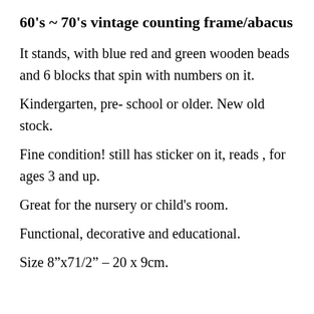60's ~ 70's vintage counting frame/abacus
It stands, with blue red and green wooden beads and 6 blocks that spin with numbers on it.
Kindergarten, pre- school or older. New old stock.
Fine condition! still has sticker on it, reads , for ages 3 and up.
Great for the nursery or child's room.
Functional, decorative and educational.
Size 8"x71/2" – 20 x 9cm.